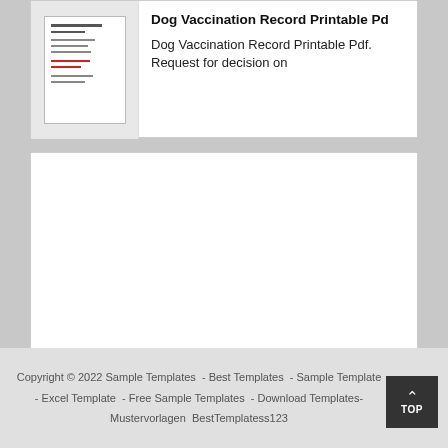[Figure (screenshot): Thumbnail image of a Dog Vaccination Record Printable PDF document]
Dog Vaccination Record Printable Pd
Dog Vaccination Record Printable Pdf. Request for decision on
[Figure (other): Empty white advertisement placeholder box]
Copyright © 2022 Sample Templates  - Best Templates  - Sample Template - Excel Template  - Free Sample Templates  - Download Templates- Mustervorlagen  BestTemplatess123